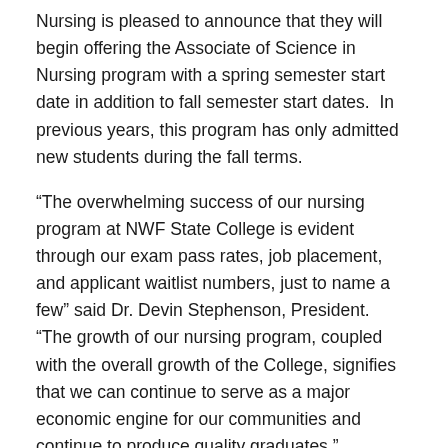Nursing is pleased to announce that they will begin offering the Associate of Science in Nursing program with a spring semester start date in addition to fall semester start dates.  In previous years, this program has only admitted new students during the fall terms.
“The overwhelming success of our nursing program at NWF State College is evident through our exam pass rates, job placement, and applicant waitlist numbers, just to name a few” said Dr. Devin Stephenson, President.  “The growth of our nursing program, coupled with the overall growth of the College, signifies that we can continue to serve as a major economic engine for our communities and continue to produce quality graduates.”